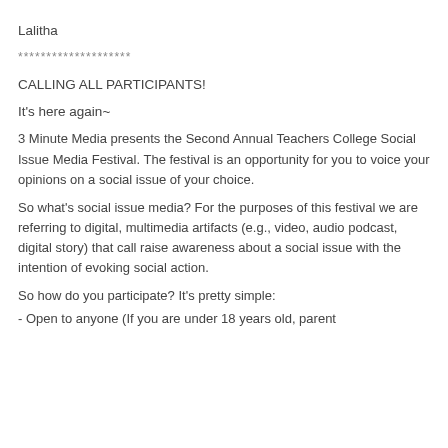Lalitha
********************
CALLING ALL PARTICIPANTS!
It's here again~
3 Minute Media presents the Second Annual Teachers College Social Issue Media Festival. The festival is an opportunity for you to voice your opinions on a social issue of your choice.
So what's social issue media? For the purposes of this festival we are referring to digital, multimedia artifacts (e.g., video, audio podcast, digital story) that call raise awareness about a social issue with the intention of evoking social action.
So how do you participate? It's pretty simple:
- Open to anyone (If you are under 18 years old, parent